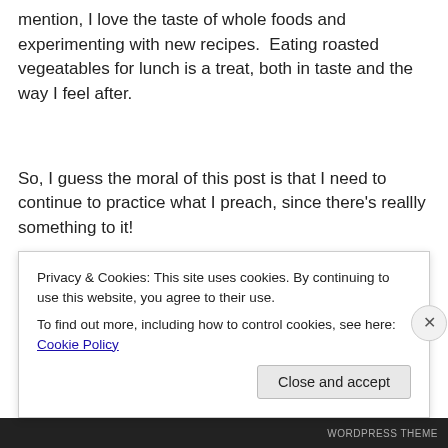mention, I love the taste of whole foods and experimenting with new recipes.  Eating roasted vegeatables for lunch is a treat, both in taste and the way I feel after.
So, I guess the moral of this post is that I need to continue to practice what I preach, since there’s reallly something to it!
This entry was posted in...
Privacy & Cookies: This site uses cookies. By continuing to use this website, you agree to their use.
To find out more, including how to control cookies, see here: Cookie Policy
Close and accept